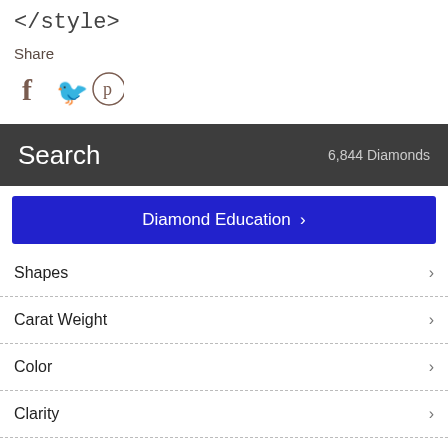</style>
Share
[Figure (illustration): Social media icons: Facebook (f), Twitter (bird), Pinterest (p circle)]
Search   6,844 Diamonds
Diamond Education >
Shapes >
Carat Weight >
Color >
Clarity >